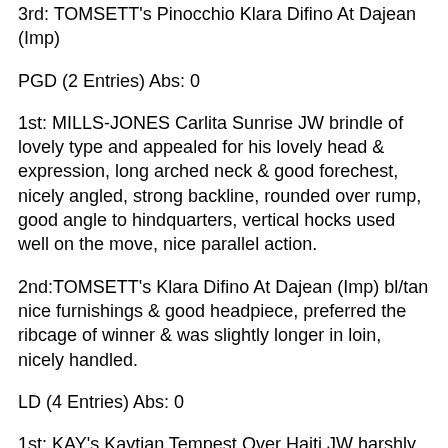3rd: TOMSETT's Pinocchio Klara Difino At Dajean (Imp)
PGD (2 Entries) Abs: 0
1st: MILLS-JONES Carlita Sunrise JW brindle of lovely type and appealed for his lovely head & expression, long arched neck & good forechest, nicely angled, strong backline, rounded over rump, good angle to hindquarters, vertical hocks used well on the move, nice parallel action.
2nd:TOMSETT's Klara Difino At Dajean (Imp) bl/tan nice furnishings & good headpiece, preferred the ribcage of winner & was slightly longer in loin, nicely handled.
LD (4 Entries) Abs: 0
1st: KAY's Kaytian Tempest Over Haiti JW harshly coated pale red with appealing head & eye shape